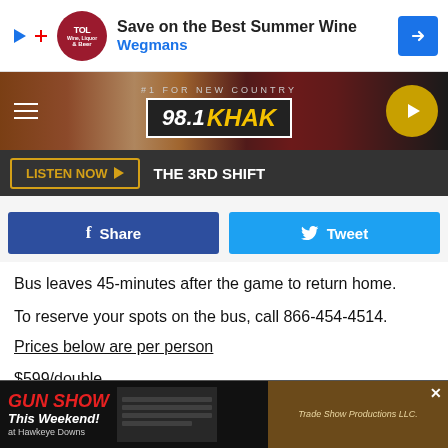[Figure (screenshot): Wegmans advertisement banner: Save on the Best Summer Wine - Wegmans]
[Figure (logo): 98.1 KHAK radio station header - #1 For New Country]
LISTEN NOW ▶  THE 3RD SHIFT
Share  Tweet (social buttons)
Bus leaves 45-minutes after the game to return home.
To reserve your spots on the bus, call 866-454-4514.
Prices below are per person
$599/double
$589/triple
$579/quad
[Figure (screenshot): Gun Show This Weekend! at Hawkeye Downs - Trade Show Productions LLC advertisement]